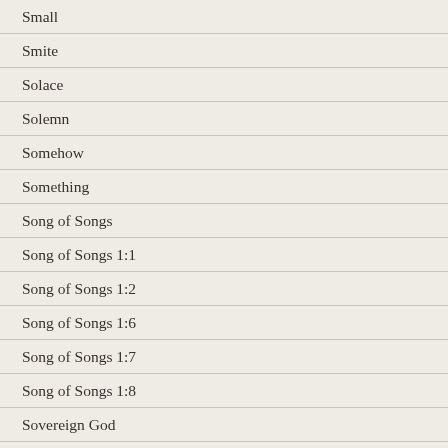Small
Smite
Solace
Solemn
Somehow
Something
Song of Songs
Song of Songs 1:1
Song of Songs 1:2
Song of Songs 1:6
Song of Songs 1:7
Song of Songs 1:8
Sovereign God